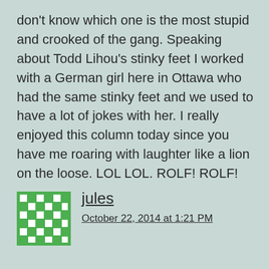don't know which one is the most stupid and crooked of the gang. Speaking about Todd Lihou's stinky feet I worked with a German girl here in Ottawa who had the same stinky feet and we used to have a lot of jokes with her. I really enjoyed this column today since you have me roaring with laughter like a lion on the loose. LOL LOL. ROLF! ROLF!
[Figure (other): Green and white pixelated avatar icon resembling a quilted or geometric pattern]
jules
October 22, 2014 at 1:21 PM